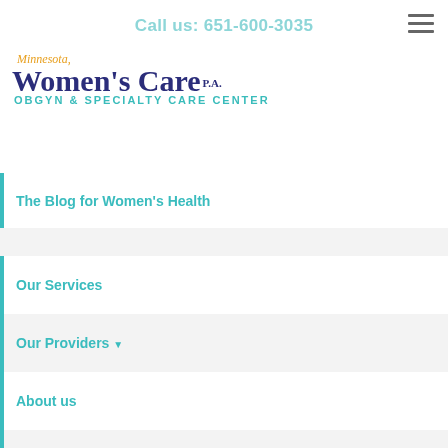Call us: 651-600-3035
[Figure (logo): Minnesota Women's Care P.A. OBGYN & Specialty Care Center logo]
The Blog for Women's Health
Our Services
Our Providers
About us
Patient info
Make a payment